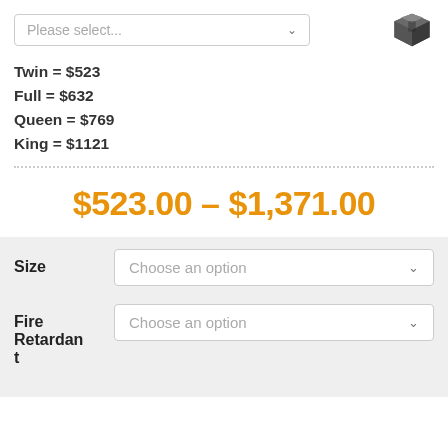Please select...
Twin = $523
Full = $632
Queen = $769
King = $1121
$523.00 – $1,371.00
Size — Choose an option
Fire Retardant — Choose an option